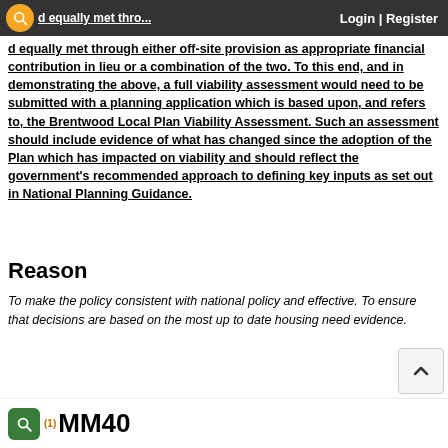Login | Register
d equally met through either off-site provision as appropriate financial contribution in lieu or a combination of the two. To this end, and in demonstrating the above, a full viability assessment would need to be submitted with a planning application which is based upon, and refers to, the Brentwood Local Plan Viability Assessment. Such an assessment should include evidence of what has changed since the adoption of the Plan which has impacted on viability and should reflect the government's recommended approach to defining key inputs as set out in National Planning Guidance.
Reason
To make the policy consistent with national policy and effective. To ensure that decisions are based on the most up to date housing need evidence.
(1) MM40